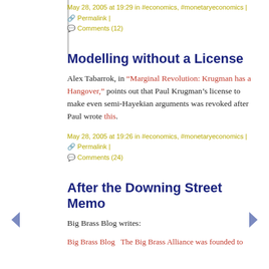May 28, 2005 at 19:29 in #economics, #monetaryeconomics | 🔗 Permalink | 💬 Comments (12)
Modelling without a License
Alex Tabarrok, in "Marginal Revolution: Krugman has a Hangover," points out that Paul Krugman's license to make even semi-Hayekian arguments was revoked after Paul wrote this.
May 28, 2005 at 19:26 in #economics, #monetaryeconomics | 🔗 Permalink | 💬 Comments (24)
After the Downing Street Memo
Big Brass Blog writes: